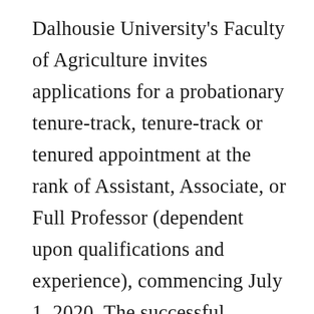Dalhousie University's Faculty of Agriculture invites applications for a probationary tenure-track, tenure-track or tenured appointment at the rank of Assistant, Associate, or Full Professor (dependent upon qualifications and experience), commencing July 1, 2020. The successful applicant will be expected to engage in leading-edge research with faculty and students, to apply for external grants, to teach, and to contribute to the academic life of the School through committee service and other activities. Capability to make significant